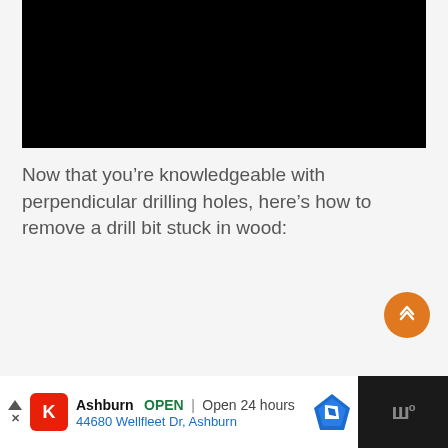[Figure (other): Black video player area]
Now that you’re knowledgeable with perpendicular drilling holes, here’s how to remove a drill bit stuck in wood:
[Figure (other): Orange circular scroll-to-top button with double chevron up icon]
[Figure (other): Advertisement bar: Ashburn OPEN | Open 24 hours, 44680 Wellfleet Dr, Ashburn, with Krispy Kreme icon and map direction icon]